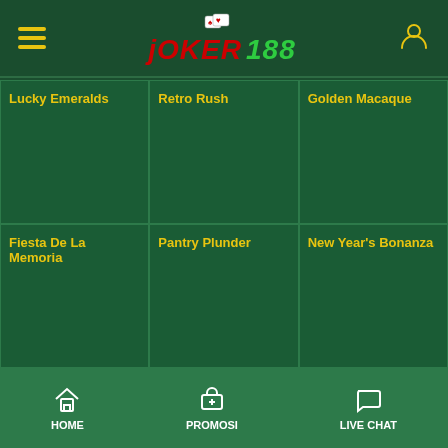JOKER 188 - navigation header with hamburger menu and user icon
Lucky Emeralds
Retro Rush
Golden Macaque
Fiesta De La Memoria
Pantry Plunder
New Year's Bonanza
HOME | PROMOSI | LIVE CHAT